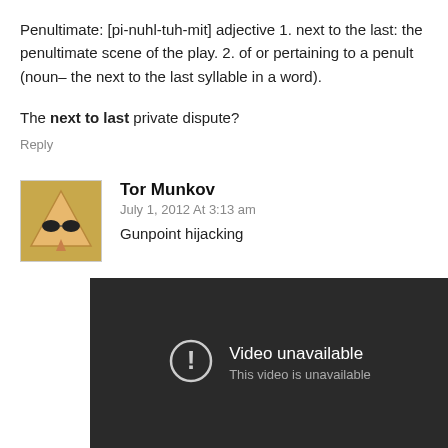Penultimate: [pi-nuhl-tuh-mit] adjective 1. next to the last: the penultimate scene of the play. 2. of or pertaining to a penult (noun– the next to the last syllable in a word).
The next to last private dispute?
Reply
Tor Munkov
July 1, 2012 At 3:13 am
Gunpoint hijacking
[Figure (screenshot): Dark video player showing 'Video unavailable' message with a circle exclamation icon and subtext 'This video is unavailable']